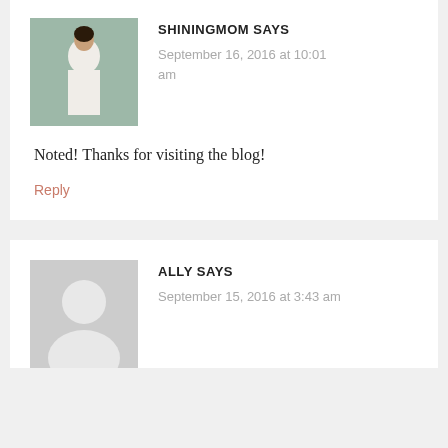[Figure (photo): Profile photo of Shiningmom - woman in white dress standing near a window]
SHININGMOM SAYS
September 16, 2016 at 10:01 am
Noted! Thanks for visiting the blog!
Reply
[Figure (illustration): Generic grey avatar placeholder circle icon]
ALLY SAYS
September 15, 2016 at 3:43 am